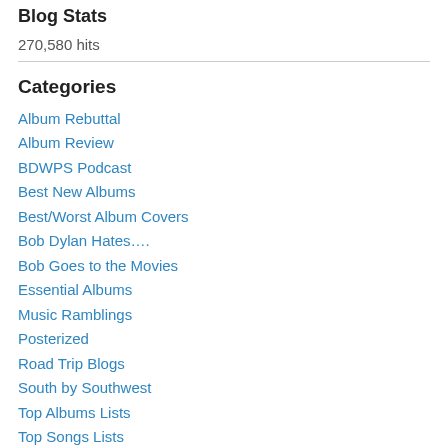Blog Stats
270,580 hits
Categories
Album Rebuttal
Album Review
BDWPS Podcast
Best New Albums
Best/Worst Album Covers
Bob Dylan Hates….
Bob Goes to the Movies
Essential Albums
Music Ramblings
Posterized
Road Trip Blogs
South by Southwest
Top Albums Lists
Top Songs Lists